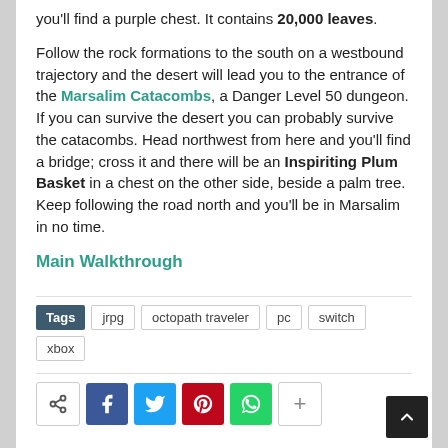you'll find a purple chest. It contains 20,000 leaves.
Follow the rock formations to the south on a westbound trajectory and the desert will lead you to the entrance of the Marsalim Catacombs, a Danger Level 50 dungeon. If you can survive the desert you can probably survive the catacombs. Head northwest from here and you'll find a bridge; cross it and there will be an Inspiriting Plum Basket in a chest on the other side, beside a palm tree. Keep following the road north and you'll be in Marsalim in no time.
Main Walkthrough
Tags: jrpg, octopath traveler, pc, switch, xbox